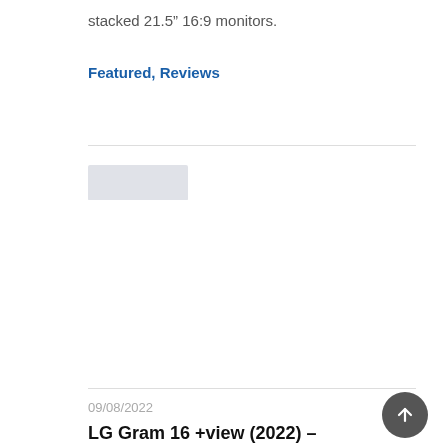stacked 21.5" 16:9 monitors.
Featured, Reviews
[Figure (photo): Placeholder image area for article thumbnail]
09/08/2022
LG Gram 16 +view (2022) –